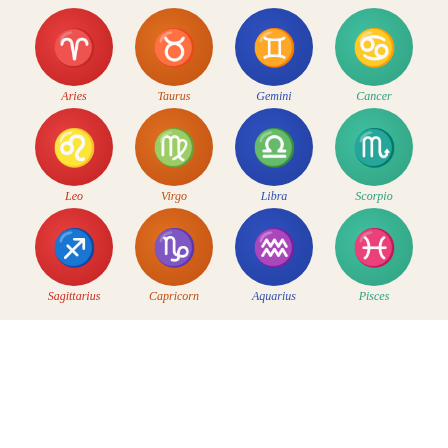[Figure (illustration): A 4x3 grid of zodiac sign icons. Each sign is shown as a colored circle (red, orange, blue, or teal) with a white symbol inside, and a handwritten-style name below. Row 1: Aries (red), Taurus (orange), Gemini (blue), Cancer (teal). Row 2: Leo (red), Virgo (orange), Libra (blue), Scorpio (teal). Row 3: Sagittarius (red), Capricorn (orange), Aquarius (blue), Pisces (teal).]
aquarius daily horo
like
RECOMMEND FOR YOU